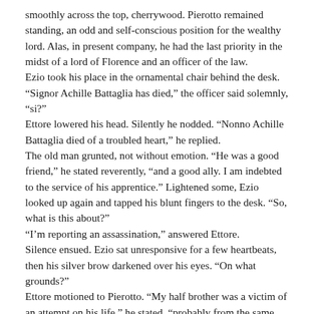smoothly across the top, cherrywood. Pierotto remained standing, an odd and self-conscious position for the wealthy lord. Alas, in present company, he had the last priority in the midst of a lord of Florence and an officer of the law.
Ezio took his place in the ornamental chair behind the desk.
"Signor Achille Battaglia has died," the officer said solemnly, "si?"
Ettore lowered his head. Silently he nodded. "Nonno Achille Battaglia died of a troubled heart," he replied.
The old man grunted, not without emotion. "He was a good friend," he stated reverently, "and a good ally. I am indebted to the service of his apprentice." Lightened some, Ezio looked up again and tapped his blunt fingers to the desk. "So, what is this about?"
"I'm reporting an assassination," answered Ettore.
Silence ensued. Ezio sat unresponsive for a few heartbeats, then his silver brow darkened over his eyes. "On what grounds?"
Ettore motioned to Pierotto. "My half brother was a victim of an attempt on his life," he stated, "probably from the same person who had killed our father, Lord Neri Battaglia."
The officer slowly nodded. He understood, yet the problem was alien. Assassination was not unheard of, but, after the emperors of Roma, who had the audacity to pull such a feat by killing a man of office?
Still more, the matter confirmed his first instinct and his mission